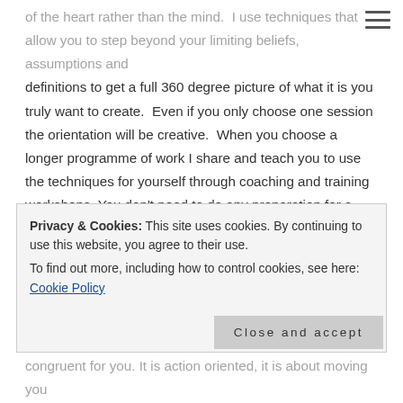of the heart rather than the mind.  I use techniques that allow you to step beyond your limiting beliefs, assumptions and definitions to get a full 360 degree picture of what it is you truly want to create.  Even if you only choose one session the orientation will be creative.  When you choose a longer programme of work I share and teach you to use the techniques for yourself through coaching and training workshops. You don't need to do any preparation for a session, you don't even have to know what you love beforehand.  All I ask is that you be open and curious.
It takes courage to do what you love and to maintain focus and
Privacy & Cookies: This site uses cookies. By continuing to use this website, you agree to their use.
To find out more, including how to control cookies, see here: Cookie Policy
Close and accept
congruent for you. It is action oriented, it is about moving you